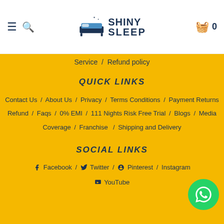[Figure (logo): Shiny Sleep logo with bed icon and brand name]
Service / Refund policy
QUICK LINKS
Contact Us / About Us / Privacy / Terms Conditions / Payment Returns Refund / Faqs / 0% EMI / 111 Nights Risk Free Trial / Blogs / Media Coverage / Franchise / Shipping and Delivery
SOCIAL LINKS
Facebook / Twitter / Pinterest / Instagram / YouTube